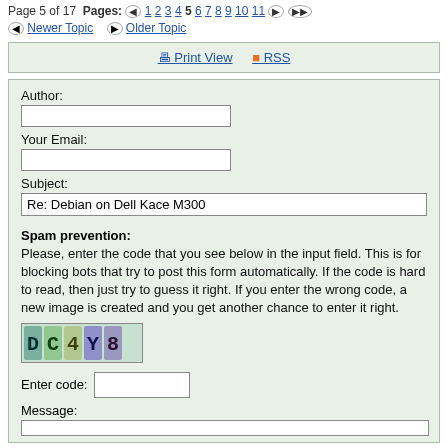Page 5 of 17  Pages: 1 2 3 4 5 6 7 8 9 10 11
Newer Topic   Older Topic
Print View  RSS
Author:
Your Email:
Subject:
Re: Debian on Dell Kace M300
Spam prevention:
Please, enter the code that you see below in the input field. This is for blocking bots that try to post this form automatically. If the code is hard to read, then just try to guess it right. If you enter the wrong code, a new image is created and you get another chance to enter it right.
[Figure (other): CAPTCHA image showing distorted characters for spam prevention]
Enter code:
Message: